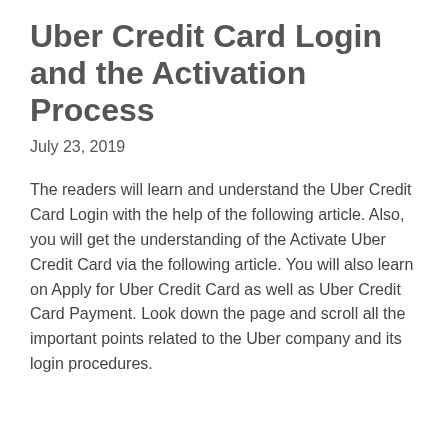Uber Credit Card Login and the Activation Process
July 23, 2019
The readers will learn and understand the Uber Credit Card Login with the help of the following article. Also, you will get the understanding of the Activate Uber Credit Card via the following article. You will also learn on Apply for Uber Credit Card as well as Uber Credit Card Payment. Look down the page and scroll all the important points related to the Uber company and its login procedures.